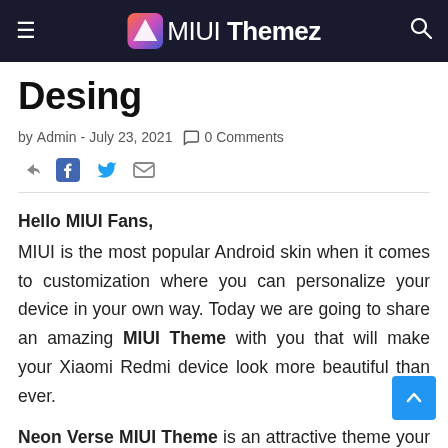MIUI Themez
Desing
by Admin - July 23, 2021  0 Comments
Hello MIUI Fans, MIUI is the most popular Android skin when it comes to customization where you can personalize your device in your own way. Today we are going to share an amazing MIUI Theme with you that will make your Xiaomi Redmi device look more beautiful than ever.
Neon Verse MIUI Theme is an attractive theme your Xiaomi Redmi device. This Xiaomi Theme will